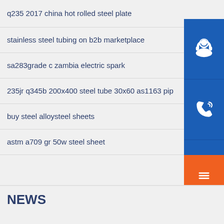q235 2017 china hot rolled steel plate
stainless steel tubing on b2b marketplace
sa283grade c zambia electric spark
235jr q345b 200x400 steel tube 30x60 as1163 pip…
buy steel alloysteel sheets
astm a709 gr 50w steel sheet
NEWS